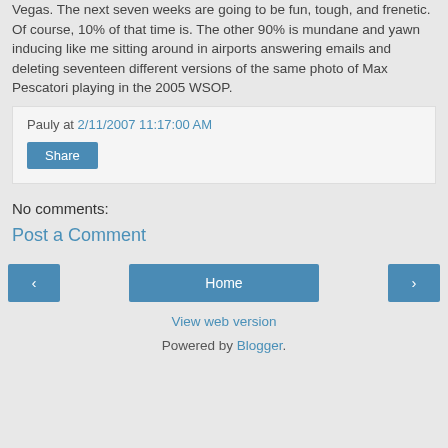Vegas. The next seven weeks are going to be fun, tough, and frenetic. Of course, 10% of that time is. The other 90% is mundane and yawn inducing like me sitting around in airports answering emails and deleting seventeen different versions of the same photo of Max Pescatori playing in the 2005 WSOP.
Pauly at 2/11/2007 11:17:00 AM
Share
No comments:
Post a Comment
‹
Home
›
View web version
Powered by Blogger.